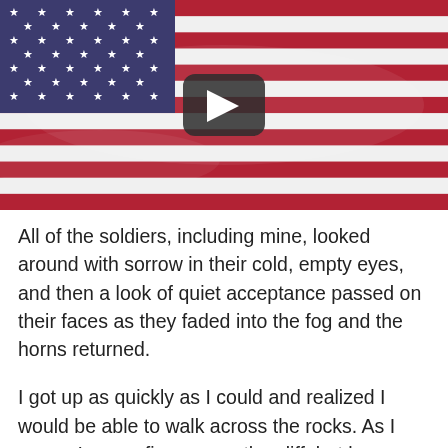[Figure (photo): American flag waving with a YouTube-style play button overlay in the center]
All of the soldiers, including mine, looked around with sorrow in their cold, empty eyes, and then a look of quiet acceptance passed on their faces as they faded into the fog and the horns returned.
I got up as quickly as I could and realized I would be able to walk across the rocks. As I arose, I saw a figure near the cliff, but he was human. A gust of wind cleared the air for a moment. The young homeless man who lives in the brush was standing